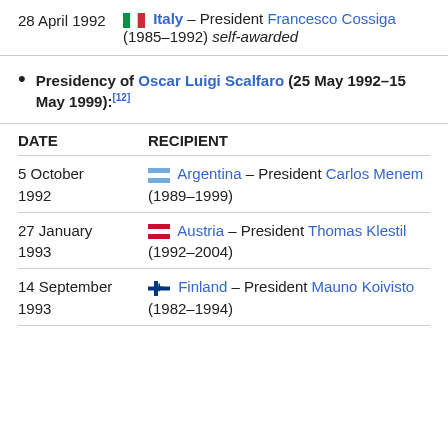| DATE | RECIPIENT |
| --- | --- |
| 28 April 1992 | Italy – President Francesco Cossiga (1985–1992) self-awarded |
| 5 October 1992 | Argentina – President Carlos Menem (1989–1999) |
| 27 January 1993 | Austria – President Thomas Klestil (1992–2004) |
| 14 September 1993 | Finland – President Mauno Koivisto (1982–1994) |
Presidency of Oscar Luigi Scalfaro (25 May 1992–15 May 1999):[12]